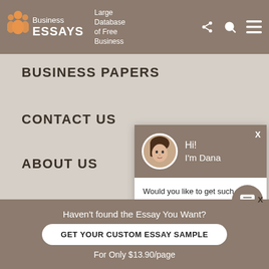Business ESSAYS — Large Database of Free Business
BUSINESS PAPERS
CONTACT US
ABOUT US
PRIVACY POLICY
TERMS & CONDITIONS
[Figure (screenshot): Chat popup with avatar of Dana saying 'Hi! I'm Dana' and message 'Would you like to get such a paper? How about receiving a customized one? Check it out']
Haven't found the Essay You Want?
GET YOUR CUSTOM ESSAY SAMPLE
For Only $13.90/page